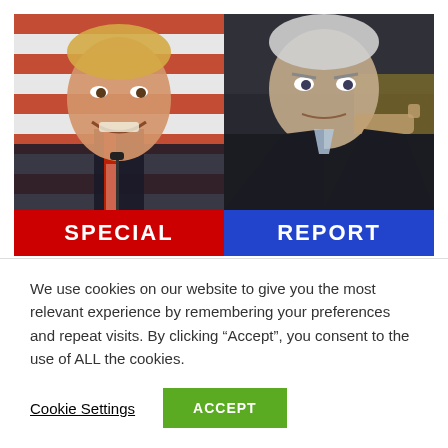[Figure (photo): Split composite photo: left side shows Donald Trump smiling at a microphone with red and white striped flag background, right side shows Joe Biden speaking at a microphone and pointing. Below the photos is a split banner reading 'SPECIAL REPORT' — left half red with 'SPECIAL', right half blue with 'REPORT'.]
Biden And Trump Hold Showdown Rallies In
We use cookies on our website to give you the most relevant experience by remembering your preferences and repeat visits. By clicking “Accept”, you consent to the use of ALL the cookies.